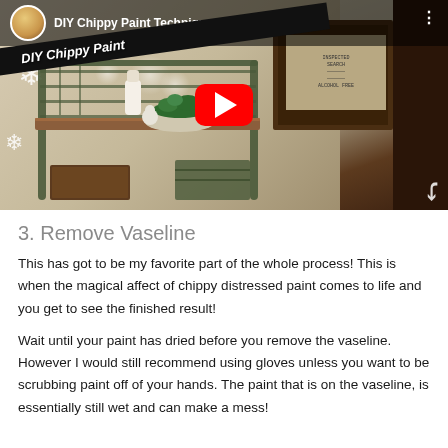[Figure (screenshot): YouTube video thumbnail showing 'DIY Chippy Paint Technique' with a woman's avatar, a diagonal black banner reading 'DIY Chippy Paint', a red YouTube play button, and a vintage metal shelving unit with plants and decor in a farmhouse-style room.]
3. Remove Vaseline
This has got to be my favorite part of the whole process! This is when the magical affect of chippy distressed paint comes to life and you get to see the finished result!
Wait until your paint has dried before you remove the vaseline. However I would still recommend using gloves unless you want to be scrubbing paint off of your hands. The paint that is on the vaseline, is essentially still wet and can make a mess!